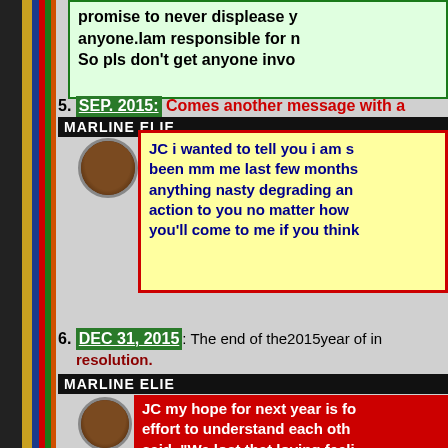promise to never displease y anyone.Iam responsible for n So pls don't get anyone invo
5. SEP. 2015: Comes another message with a
MARLINE ELIE
JC i wanted to tell you i am s been mm me last few months anything nasty degrading an action to you no matter how you'll come to me if you think
6. DEC 31, 2015: The end of the2015year of in resolution.
MARLINE ELIE
JC my hope for next year is fo effort to understand each oth said. "We lost that loving feeli person but sometimes you br me.And that should be the op very best to meet you half wa